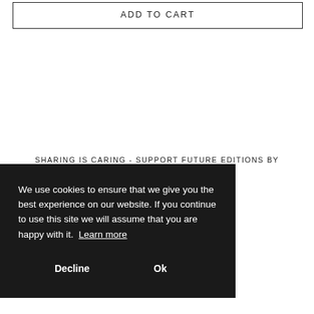ADD TO CART
SHARING IS CARING - SUPPORT FUTURE EDITIONS BY
SHARING WITH FRIENDS
SEND VIA EMAIL
COPY LINK
We use cookies to ensure that we give you the best experience on our website. If you continue to use this site we will assume that you are happy with it. Learn more
Decline
Ok